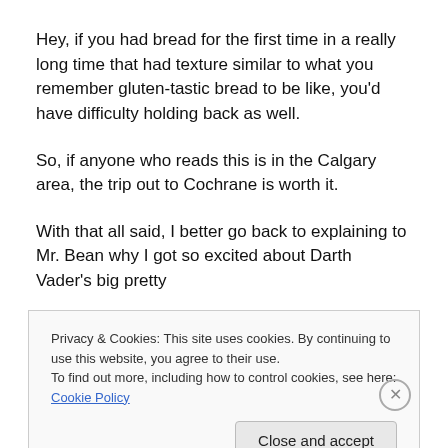Hey, if you had bread for the first time in a really long time that had texture similar to what you remember gluten-tastic bread to be like, you'd have difficulty holding back as well.
So, if anyone who reads this is in the Calgary area, the trip out to Cochrane is worth it.
With that all said, I better go back to explaining to Mr. Bean why I got so excited about Darth Vader's big pretty
Privacy & Cookies: This site uses cookies. By continuing to use this website, you agree to their use.
To find out more, including how to control cookies, see here: Cookie Policy